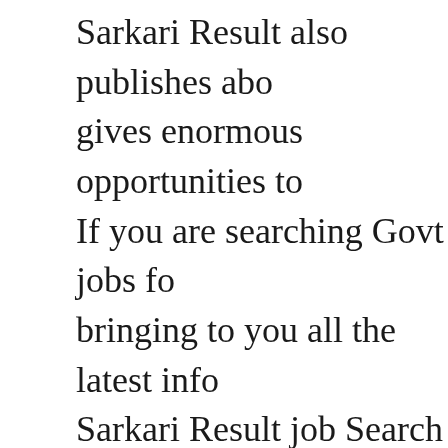Sarkari Result also publishes abo gives enormous opportunities to If you are searching Govt jobs fo bringing to you all the latest info Sarkari Result job Search Portal working in these feilds Medical R Coding Services, Asset Managem ,Gas/Electricity, Loans, Mortgag Call, Credit, Degree.